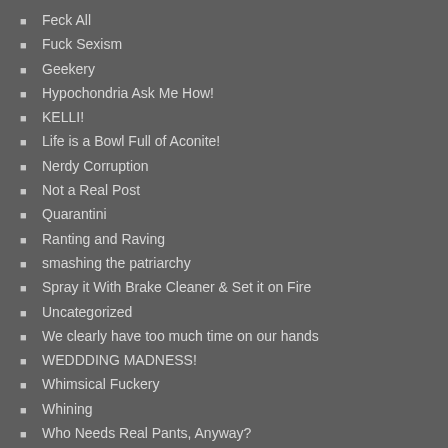Feck All
Fuck Sexism
Geekery
Hypochondria Ask Me How!
KELLI!
Life is a Bowl Full of Aconite!
Nerdy Corruption
Not a Real Post
Quarantini
Ranting and Raving
smashing the patriarchy
Spray it With Brake Cleaner & Set it on Fire
Uncategorized
We clearly have too much time on our hands
WEDDDING MADNESS!
Whimsical Fuckery
Whining
Who Needs Real Pants, Anyway?
Why we Can't Have Nice Things
Meta
Register
Log in
Entries feed